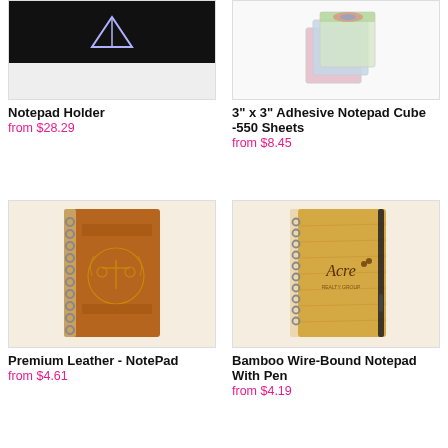[Figure (photo): Notepad Holder product image showing a dark background with a holder]
Notepad Holder
from $28.29
[Figure (photo): 3 inch x 3 inch adhesive notepad cube with colorful cover, 550 sheets]
3" x 3" Adhesive Notepad Cube -550 Sheets
from $8.45
[Figure (photo): Premium leather notepad with spiral binding and embossed legal scales logo]
Premium Leather - NotePad
from $4.61
[Figure (photo): Bamboo wire-bound notepad with pen, featuring Acre branding and elastic closure]
Bamboo Wire-Bound Notepad With Pen
from $4.19